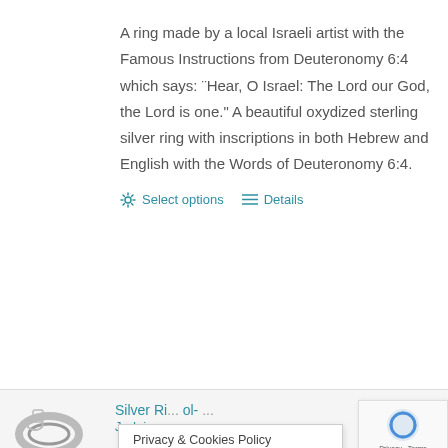A ring made by a local Israeli artist with the Famous Instructions from Deuteronomy 6:4 which says: "Hear, O Israel: The Lord our God, the Lord is one." A beautiful oxydized sterling silver ring with inscriptions in both Hebrew and English with the Words of Deuteronomy 6:4.
Select options   Details
Silver Ri... ol- ... Judaica
Privacy & Cookies Policy